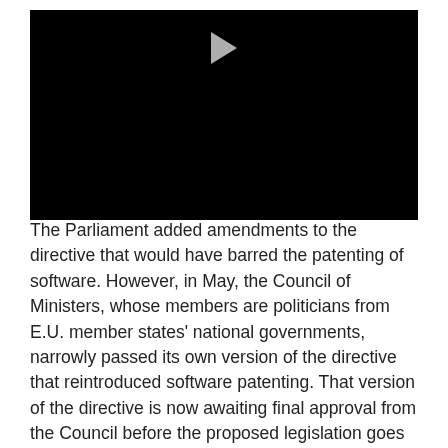[Figure (other): Black video player with a play button triangle visible at the top center]
The Parliament added amendments to the directive that would have barred the patenting of software. However, in May, the Council of Ministers, whose members are politicians from E.U. member states' national governments, narrowly passed its own version of the directive that reintroduced software patenting. That version of the directive is now awaiting final approval from the Council before the proposed legislation goes back to the European Parliament for a second reading.